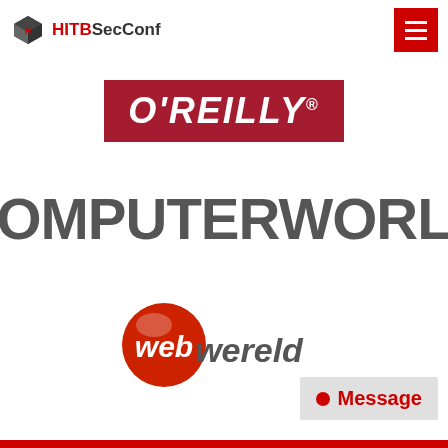[Figure (logo): HITBSecConf logo with cube icon and text]
[Figure (logo): O'REILLY logo on dark red/crimson background]
[Figure (logo): COMPUTERWORLD logo with yellow C and gray text]
[Figure (logo): webwereld logo with red circle and web/wereld text]
[Figure (other): Message button with red dot and Message text on gray background]